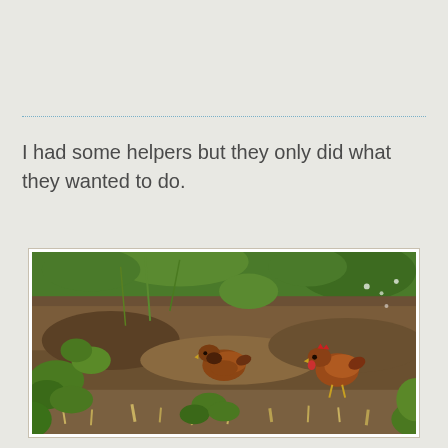I had some helpers but they only did what they wanted to do.
[Figure (photo): Two brown/red chickens foraging in a garden area with soil, mulch, and green plants and grass.]